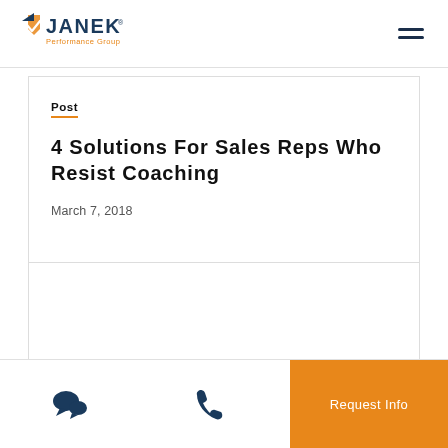[Figure (logo): Janek Performance Group logo with orange checkmark/shield icon and dark blue JANEK text with registered trademark, orange Performance Group subtitle]
Post
4 Solutions For Sales Reps Who Resist Coaching
March 7, 2018
[Figure (other): Chat bubble icon (dark blue) and phone icon (dark blue) in bottom navigation bar]
Request Info